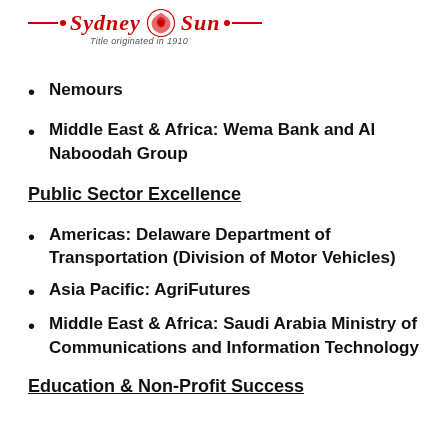Sydney Sun — Title originated in 1910
Nemours
Middle East & Africa: Wema Bank and Al Naboodah Group
Public Sector Excellence
Americas: Delaware Department of Transportation (Division of Motor Vehicles)
Asia Pacific: AgriFutures
Middle East & Africa: Saudi Arabia Ministry of Communications and Information Technology
Education & Non-Profit Success